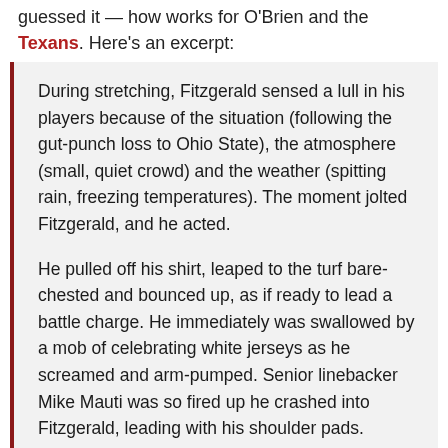guessed it — how works for O'Brien and the Texans. Here's an excerpt:
During stretching, Fitzgerald sensed a lull in his players because of the situation (following the gut-punch loss to Ohio State), the atmosphere (small, quiet crowd) and the weather (spitting rain, freezing temperatures). The moment jolted Fitzgerald, and he acted.
He pulled off his shirt, leaped to the turf bare-chested and bounced up, as if ready to lead a battle charge. He immediately was swallowed by a mob of celebrating white jerseys as he screamed and arm-pumped. Senior linebacker Mike Mauti was so fired up he crashed into Fitzgerald, leading with his shoulder pads. [Video of this below].